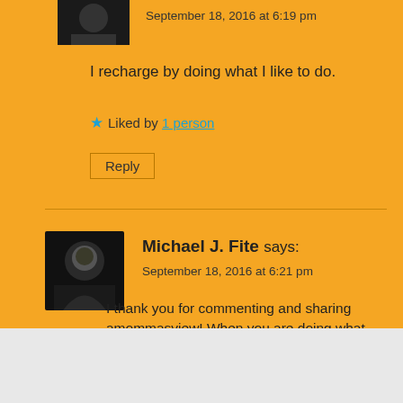September 18, 2016 at 6:19 pm
I recharge by doing what I like to do.
Liked by 1 person
Reply
Michael J. Fite says:
September 18, 2016 at 6:21 pm
I thank you for commenting and sharing amommasview! When you are doing what you like to do, it can really charge you up and do some great things!
Advertisements
[Figure (other): Advertisement banner: Opinions. We all have them! with WordPress and another logo]